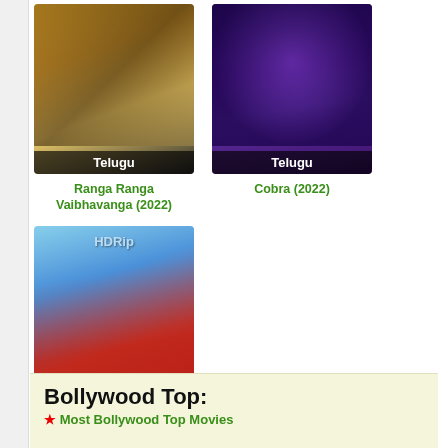[Figure (photo): Movie poster for Ranga Ranga Vaibhavanga (2022) - Telugu film poster showing two actors with Telugu script text, labeled Telugu at bottom]
Ranga Ranga Vaibhavanga (2022)
[Figure (photo): Movie poster for Cobra (2022) - dark purple toned poster with a man wearing glasses, text reads COBRA, labeled Telugu at bottom]
Cobra (2022)
[Figure (photo): Movie poster for Pellikuturu Party (2022) - HDRip, Telugu film, shows group of young people on a red car and motorcycle with colorful background and script title text, labeled Telugu at bottom]
Pellikuturu Party (2022)
Bollywood Top: